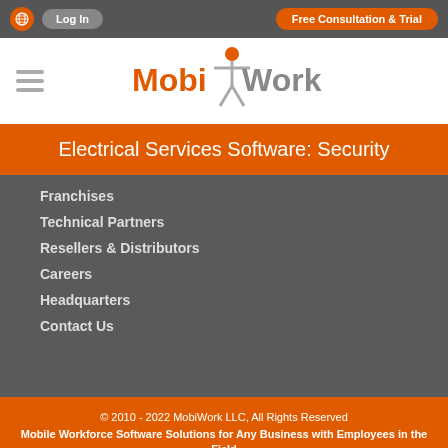Log In | Free Consultation & Trial
[Figure (logo): MobiWork logo with orange figure and gray/orange text]
Electrical Services Software: Security
Franchises
Technical Partners
Resellers & Distributors
Careers
Headquarters
Contact Us
© 2010 - 2022 MobiWork LLC, All Rights Reserved
Mobile Workforce Software Solutions for Any Business with Employees in the Field
Terms of Service | Privacy Policy | Contact Us